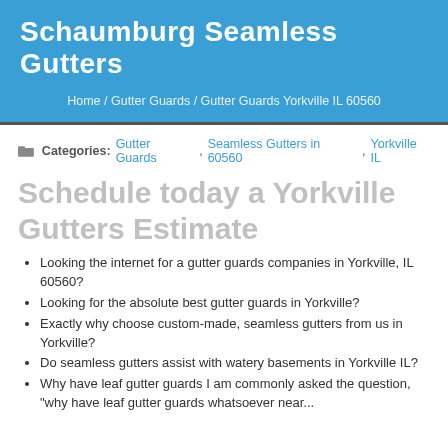Schaumburg Seamless Gutters
Home / Gutter Guards / Gutter Guards Yorkville IL 60560
Categories: Gutter Guards, Seamless Gutters in 60560, Yorkville IL
Schedule today a Yorkville Gutters Estimate
Looking the internet for a gutter guards companies in Yorkville, IL 60560?
Looking for the absolute best gutter guards in Yorkville?
Exactly why choose custom-made, seamless gutters from us in Yorkville?
Do seamless gutters assist with watery basements in Yorkville IL?
Why have leaf gutter guards I am commonly asked the question, "why have leaf gutter guards whatsoever near...